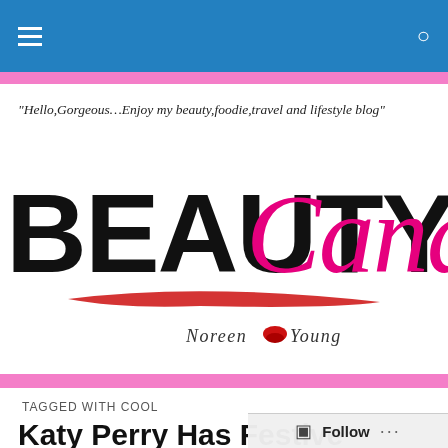Beauty Candy – Noreen Young blog header with navigation and search
"Hello,Gorgeous…Enjoy my beauty,foodie,travel and lifestyle blog"
[Figure (logo): Beauty Candy logo with 'BEAUTY' in black serif bold and 'Candy' in pink cursive script, red lipstick brush stroke underneath, and 'Noreen Young' in decorative font with a lipstick kiss mark]
TAGGED WITH COOL
Katy Perry Has Festive Candy Cane Eyeliner In New…